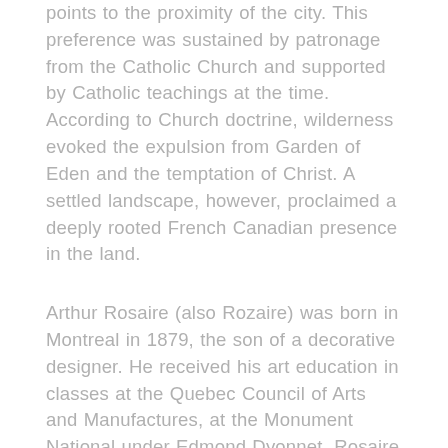points to the proximity of the city. This preference was sustained by patronage from the Catholic Church and supported by Catholic teachings at the time. According to Church doctrine, wilderness evoked the expulsion from Garden of Eden and the temptation of Christ. A settled landscape, however, proclaimed a deeply rooted French Canadian presence in the land.
Arthur Rosaire (also Rozaire) was born in Montreal in 1879, the son of a decorative designer. He received his art education in classes at the Quebec Council of Arts and Manufactures, at the Monument National under Edmond Dyonnet. Rosaire also studied at the Art Association of Montreal under William Brymner and Maurice Cullen. Rozaire moved to Los Angeles, California in 1917 where his work was very well received. He was active in art circles